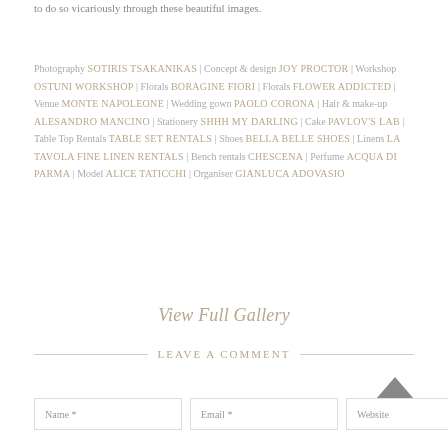to do so vicariously through these beautiful images.
Photography SOTIRIS TSAKANIKAS | Concept & design JOY PROCTOR | Workshop OSTUNI WORKSHOP | Florals BORAGINE FIORI | Florals FLOWER ADDICTED | Venue MONTE NAPOLEONE | Wedding gown PAOLO CORONA | Hair & make-up ALESANDRO MANCINO | Stationery SHHH MY DARLING | Cake PAVLOV'S LAB | Table Top Rentals TABLE SET RENTALS | Shoes BELLA BELLE SHOES | Linens LA TAVOLA FINE LINEN RENTALS | Bench rentals CHESCENA | Perfume ACQUA DI PARMA | Model ALICE TATICCHI | Organiser GIANLUCA ADOVASIO
View Full Gallery
LEAVE A COMMENT
Name * | Email * | Website